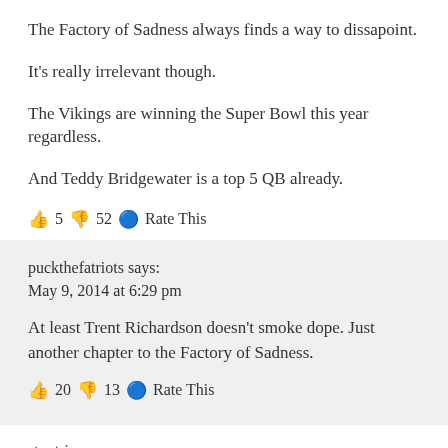The Factory of Sadness always finds a way to dissapoint.
It’s really irrelevant though.
The Vikings are winning the Super Bowl this year regardless.
And Teddy Bridgewater is a top 5 QB already.
👍 5 👎 52 🔵 Rate This
puckthefatriots says:
May 9, 2014 at 6:29 pm
At least Trent Richardson doesn’t smoke dope. Just another chapter to the Factory of Sadness.
👍 20 👎 13 🔵 Rate This
stoptrippn says:
May 9, 2014 at 6:29 pm